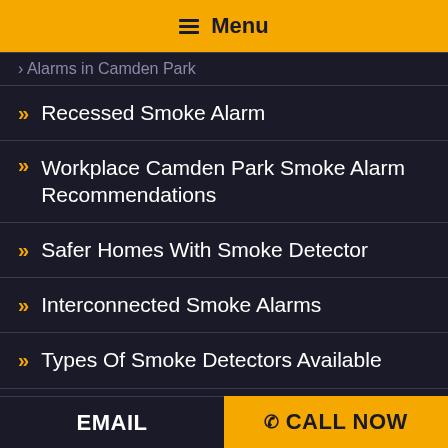≡ Menu
Alarms in Camden Park
Recessed Smoke Alarm
Workplace Camden Park Smoke Alarm Recommendations
Safer Homes With Smoke Detector
Interconnected Smoke Alarms
Types Of Smoke Detectors Available
Installing A Ceiling Fan With A Light
Urgent Electricians
EMAIL   📞 CALL NOW